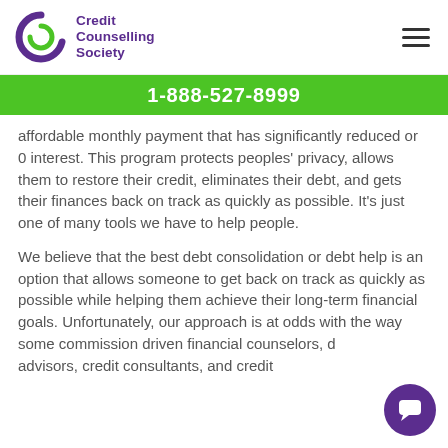Credit Counselling Society
1-888-527-8999
affordable monthly payment that has significantly reduced or 0 interest. This program protects peoples' privacy, allows them to restore their credit, eliminates their debt, and gets their finances back on track as quickly as possible. It's just one of many tools we have to help people.
We believe that the best debt consolidation or debt help is an option that allows someone to get back on track as quickly as possible while helping them achieve their long-term financial goals. Unfortunately, our approach is at odds with the way some commission driven financial counselors, debt advisors, credit consultants, and credit